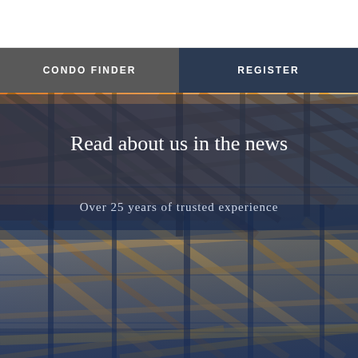[Figure (logo): Logel Homes logo with diamond/arrow icon above the text LOGEL HOMES]
[Figure (illustration): Hamburger menu icon (three horizontal lines) in dark gray]
CONDO FINDER
REGISTER
[Figure (photo): Construction photo showing wooden roof framing/scaffolding with warm orange and cool blue tones from sunlight]
Read about us in the news
Over 25 years of trusted experience